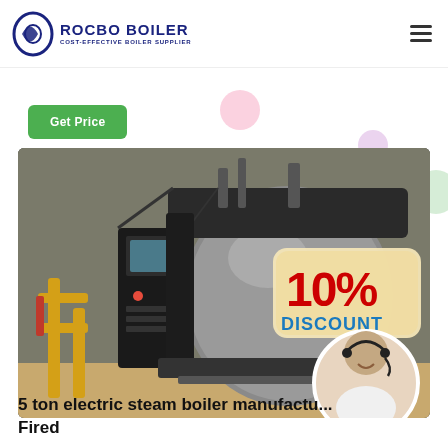ROCBO BOILER - COST-EFFECTIVE BOILER SUPPLIER
Get Price
[Figure (photo): Industrial electric steam boiler in a factory setting with yellow gas pipes, black control panel, large cylindrical boiler body, and a 10% DISCOUNT badge overlay. A customer service representative in a circular inset at bottom-right.]
5 ton electric steam boiler manufactu... Fired